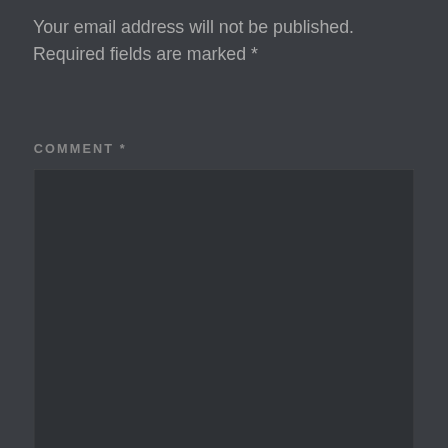Your email address will not be published. Required fields are marked *
COMMENT *
[Figure (screenshot): Empty dark comment textarea input box]
Privacy & Cookies: This site uses cookies. By continuing to use this website, you agree to their use.
To find out more, including how to control cookies, see here: Cookie Policy
Close and accept